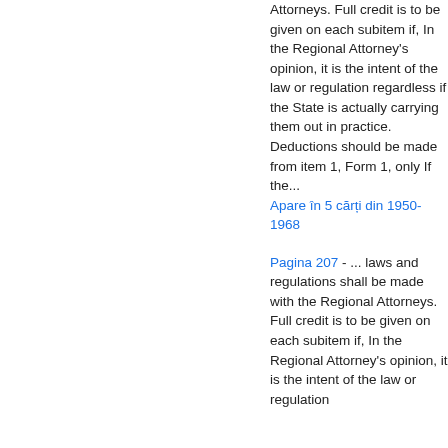Attorneys. Full credit is to be given on each subitem if, In the Regional Attorney's opinion, it is the intent of the law or regulation regardless if the State is actually carrying them out in practice. Deductions should be made from item 1, Form 1, only If the...
Apare în 5 cărți din 1950-1968
Pagina 207 - ... laws and regulations shall be made with the Regional Attorneys. Full credit is to be given on each subitem if, In the Regional Attorney's opinion, it is the intent of the law or regulation